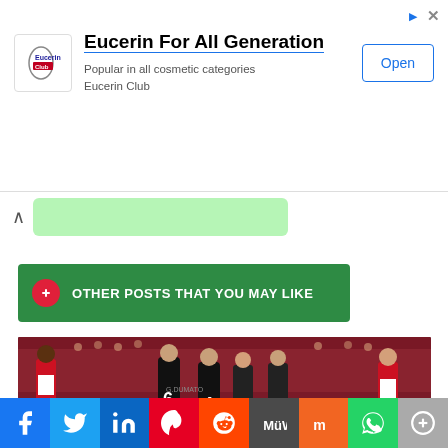[Figure (screenshot): Advertisement banner for Eucerin For All Generation with logo, text 'Popular in all cosmetic categories / Eucerin Club', and an Open button. Ad icons top right.]
[Figure (screenshot): Chevron/collapse icon and a light green message bar below the ad.]
OTHER POSTS THAT YOU MAY LIKE
[Figure (photo): Football match photo showing players in red-white Atletico Madrid jerseys and black away jerseys, with crowd in background. Players with numbers 6 and 4 visible.]
[Figure (screenshot): Social media share bar with icons: Facebook, Twitter, LinkedIn, Pinterest, Reddit, MeWe, Mix, WhatsApp, More (plus).]